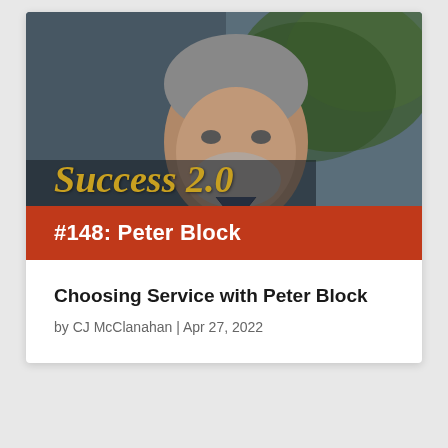[Figure (photo): Portrait photo of Peter Block, a middle-aged man with grey hair and beard, wearing a dark blue shirt, with green foliage in the background. Overlaid with 'Success 2.0' logo in gold italic serif font and a red banner reading '#148: Peter Block']
Choosing Service with Peter Block
by CJ McClanahan | Apr 27, 2022